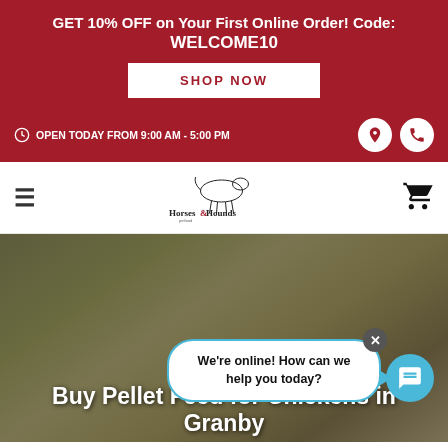GET 10% OFF on Your First Online Order! Code: WELCOME10
SHOP NOW
OPEN TODAY FROM 9:00 AM - 5:00 PM
[Figure (logo): Horses & Hounds pet food logo with a horse illustration]
[Figure (photo): Blurred outdoor background with chickens/birds — hero banner image]
We're online! How can we help you today?
Buy Pellet Feed for Chickens in Granby